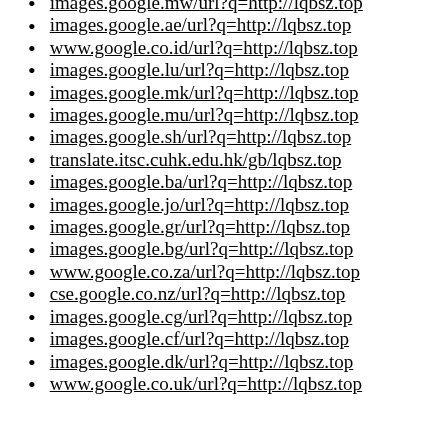images.google.mw/url?q=http://lqbsz.top
images.google.ae/url?q=http://lqbsz.top
www.google.co.id/url?q=http://lqbsz.top
images.google.lu/url?q=http://lqbsz.top
images.google.mk/url?q=http://lqbsz.top
images.google.mu/url?q=http://lqbsz.top
images.google.sh/url?q=http://lqbsz.top
translate.itsc.cuhk.edu.hk/gb/lqbsz.top
images.google.ba/url?q=http://lqbsz.top
images.google.jo/url?q=http://lqbsz.top
images.google.gr/url?q=http://lqbsz.top
images.google.bg/url?q=http://lqbsz.top
www.google.co.za/url?q=http://lqbsz.top
cse.google.co.nz/url?q=http://lqbsz.top
images.google.cg/url?q=http://lqbsz.top
images.google.cf/url?q=http://lqbsz.top
images.google.dk/url?q=http://lqbsz.top
www.google.co.uk/url?q=http://lqbsz.top